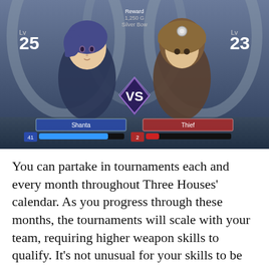[Figure (screenshot): Video game battle screenshot showing two characters facing each other. Left side shows a character at Level 25 named 'Shanta' with a blue HP bar showing value 41. Right side shows a character at Level 23 named 'Thief' with a red HP bar. A 'VS' badge appears in the center. The background shows an interior stone room with arched columns.]
You can partake in tournaments each and every month throughout Three Houses' calendar. As you progress through these months, the tournaments will scale with your team, requiring higher weapon skills to qualify. It's not unusual for your skills to be too low
We use cookies on our website to give you the most relevant experience by remembering your preferences and repeat visits. By clicking “Accept”, you consent to the use of ALL the cookies.
Do not sell my personal information.
Cookie settings
ACCEPT